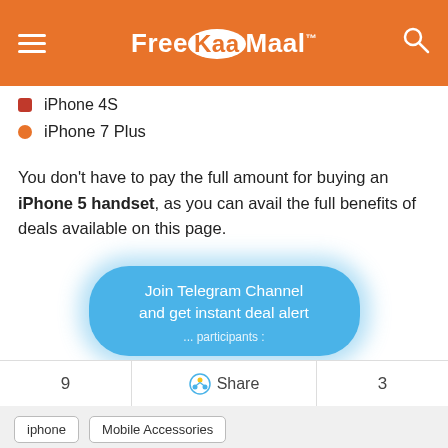FreeKaaMaal
iPhone 4S
iPhone 7 Plus
You don't have to pay the full amount for buying an iPhone 5 handset, as you can avail the full benefits of deals available on this page.
[Figure (screenshot): Blue rounded button with text 'Join Telegram Channel and get instant deal alert ... participants']
9    Share    3
iphone    Mobile Accessories